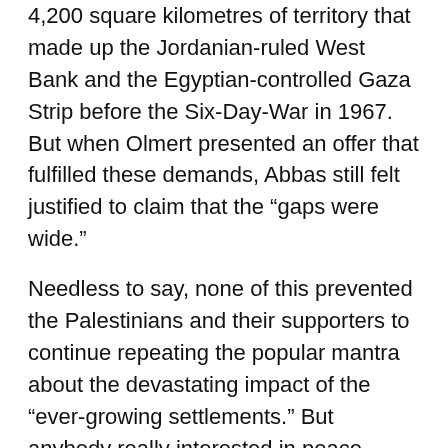4,200 square kilometres of territory that made up the Jordanian-ruled West Bank and the Egyptian-controlled Gaza Strip before the Six-Day-War in 1967. But when Olmert presented an offer that fulfilled these demands, Abbas still felt justified to claim that the “gaps were wide.”
Needless to say, none of this prevented the Palestinians and their supporters to continue repeating the popular mantra about the devastating impact of the “ever-growing settlements.” But anybody really interested in peace would have to address the problems of the ever-growing Palestinian “refugee” population consisting of millions of Palestinians who nurture the fantasy that they can claim a “right of return” to the places their grandparents left when the Arab states failed in their attempt to undo Israel’s establishment in 1948.
[*Note: since the return of Palestinian refugees to the West